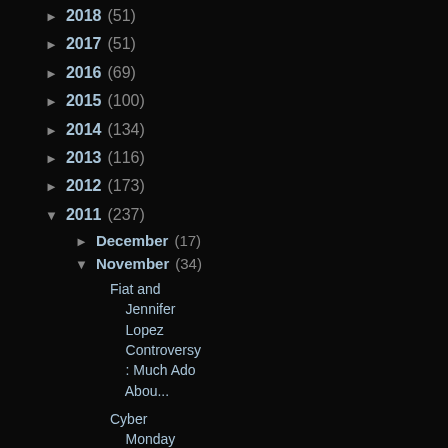► 2018 (51)
► 2017 (51)
► 2016 (69)
► 2015 (100)
► 2014 (134)
► 2013 (116)
► 2012 (173)
▼ 2011 (237)
► December (17)
▼ November (34)
Fiat and Jennifer Lopez Controversy : Much Ado Abou...
Cyber Monday Hits Fiat and Abarth Stores